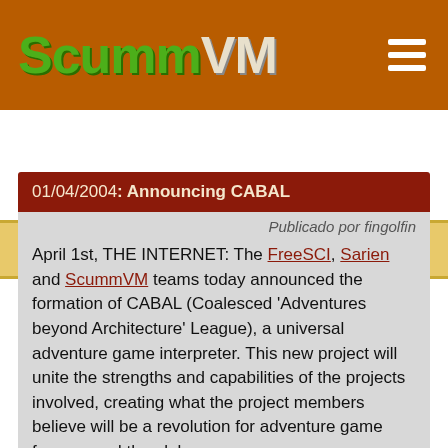ScummVM
Últimas Notícias
01/04/2004: Announcing CABAL
Publicado por fingolfin
April 1st, THE INTERNET: The FreeSCI, Sarien and ScummVM teams today announced the formation of CABAL (Coalesced 'Adventures beyond Architecture' League), a universal adventure game interpreter. This new project will unite the strengths and capabilities of the projects involved, creating what the project members believe will be a revolution for adventure game fans around the globe.
When asked about the relevance of CABAL for the worldwide adventure gaming market, ScummVM project lead Max Horn commented that "[with] the market for adventure titles waning, we believe that the formation of a project with the explicit goal of running every adventure game ever released will infuse it with new life." FreeSCI maintainer Lars Skovlund added that "this will certainly cause an upheaval in the